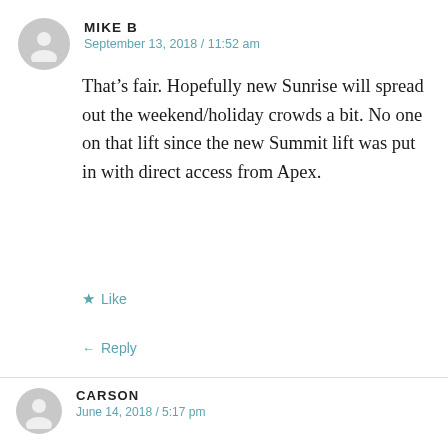MIKE B
September 13, 2018 / 11:52 am
That’s fair. Hopefully new Sunrise will spread out the weekend/holiday crowds a bit. No one on that lift since the new Summit lift was put in with direct access from Apex.
★ Like
← Reply
Advertisements
[Figure (other): WooCommerce advertisement banner: purple background with WooCommerce logo and text 'How to start selling subscriptions online']
CARSON
June 14, 2018 / 5:17 pm